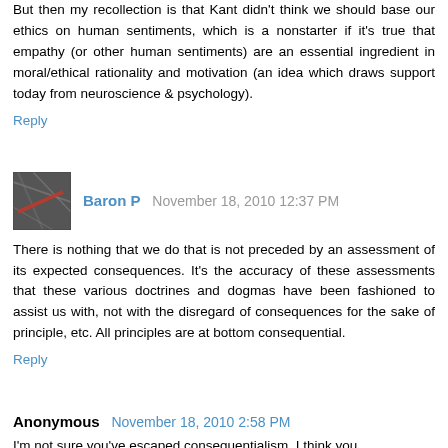But then my recollection is that Kant didn't think we should base our ethics on human sentiments, which is a nonstarter if it's true that empathy (or other human sentiments) are an essential ingredient in moral/ethical rationality and motivation (an idea which draws support today from neuroscience & psychology).
Reply
Baron P  November 18, 2010 12:37 PM
There is nothing that we do that is not preceded by an assessment of its expected consequences. It's the accuracy of these assessments that these various doctrines and dogmas have been fashioned to assist us with, not with the disregard of consequences for the sake of principle, etc. All principles are at bottom consequential.
Reply
Anonymous  November 18, 2010 2:58 PM
I'm not sure you've escaped consequentialism. I think you